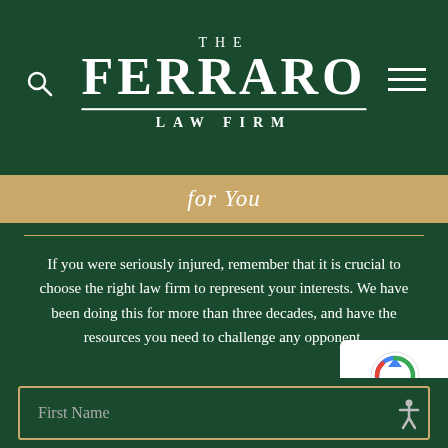[Figure (logo): The Ferraro Law Firm logo in white text on dark green background]
for You
If you were seriously injured, remember that it is crucial to choose the right law firm to represent your interests. We have been doing this for more than three decades, and have the resources you need to challenge any opponent.
First Name